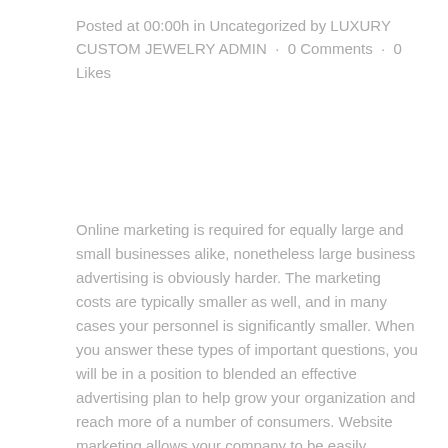Posted at 00:00h in Uncategorized by LUXURY CUSTOM JEWELRY ADMIN · 0 Comments · 0 Likes
Online marketing is required for equally large and small businesses alike, nonetheless large business advertising is obviously harder. The marketing costs are typically smaller as well, and in many cases your personnel is significantly smaller. When you answer these types of important questions, you will be in a position to blended an effective advertising plan to help grow your organization and reach more of a number of consumers. Website marketing allows your company to be easily accessible through the internet to enormous amounts of people throughout the world. Even though this gives you a great advantage over your competitors, it does suggest that